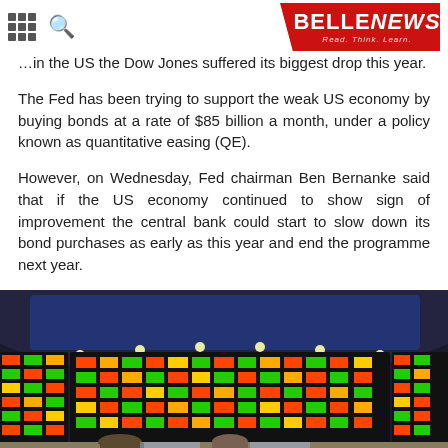BELLENEWS — Read. Think. Learn.
…in the US the Dow Jones suffered its biggest drop this year.
The Fed has been trying to support the weak US economy by buying bonds at a rate of $85 billion a month, under a policy known as quantitative easing (QE).
However, on Wednesday, Fed chairman Ben Bernanke said that if the US economy continued to show sign of improvement the central bank could start to slow down its bond purchases as early as this year and end the programme next year.
[Figure (photo): Interior of a stock exchange trading floor showing large electronic display boards with red, yellow and green stock ticker data, with traders and staff visible in the foreground.]
Privacy & Cookies Policy